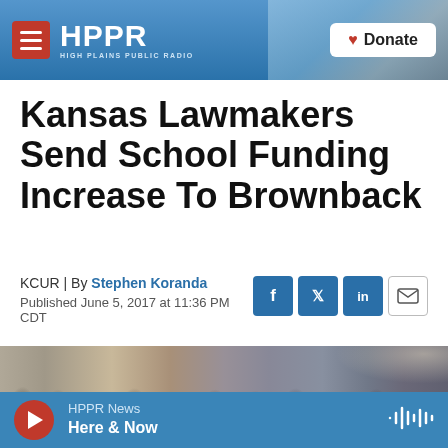HPPR | HIGH PLAINS PUBLIC RADIO | Donate
Kansas Lawmakers Send School Funding Increase To Brownback
KCUR | By Stephen Koranda
Published June 5, 2017 at 11:36 PM CDT
[Figure (photo): Photo of Kansas lawmakers seated in a legislative chamber, many in suits, viewed from the side.]
HPPR News | Here & Now